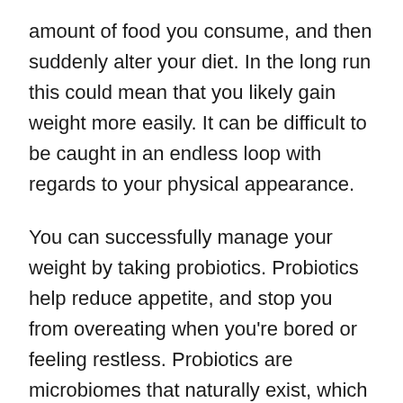amount of food you consume, and then suddenly alter your diet. In the long run this could mean that you likely gain weight more easily. It can be difficult to be caught in an endless loop with regards to your physical appearance.
You can successfully manage your weight by taking probiotics. Probiotics help reduce appetite, and stop you from overeating when you're bored or feeling restless. Probiotics are microbiomes that naturally exist, which will teach your stomach to detect real signals of hunger. The cravings for food that is junk will diminish. The microbes are also able to aid in digestion of foods, which can improve the metabolism of your body. The sooner food is reduced, the faster you'll be able to digest and then